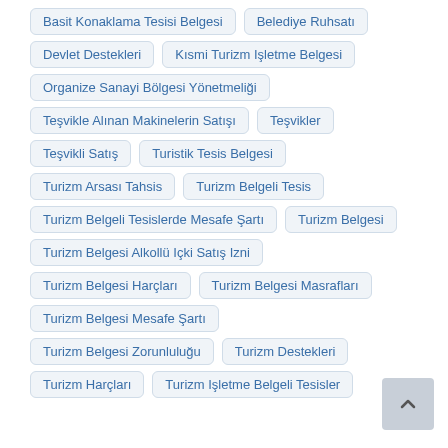Basit Konaklama Tesisi Belgesi
Belediye Ruhsatı
Devlet Destekleri
Kısmi Turizm Işletme Belgesi
Organize Sanayi Bölgesi Yönetmeliği
Teşvikle Alınan Makinelerin Satışı
Teşvikler
Teşvikli Satış
Turistik Tesis Belgesi
Turizm Arsası Tahsis
Turizm Belgeli Tesis
Turizm Belgeli Tesislerde Mesafe Şartı
Turizm Belgesi
Turizm Belgesi Alkollü Içki Satış Izni
Turizm Belgesi Harçları
Turizm Belgesi Masrafları
Turizm Belgesi Mesafe Şartı
Turizm Belgesi Zorunluluğu
Turizm Destekleri
Turizm Harçları
Turizm Işletme Belgeli Tesisler